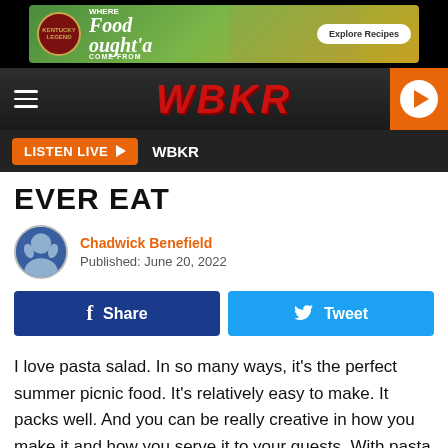[Figure (advertisement): Kentucky Legend 'Where Food Ought'a Come From' ad banner with sandwich image and Explore Recipes button]
WBKR
LISTEN LIVE ▶  WBKR
EVER EAT
Chadwick Benefield
Published: June 20, 2022
Share  Tweet
I love pasta salad. In so many ways, it's the perfect summer picnic food. It's relatively easy to make. It packs well. And you can be really creative in how you make it and how you serve it to your guests. With pasta salad, the sky's the limit.
[Figure (advertisement): Kentucky Legend 'Where Food Ought'a Come From' ad banner at bottom]